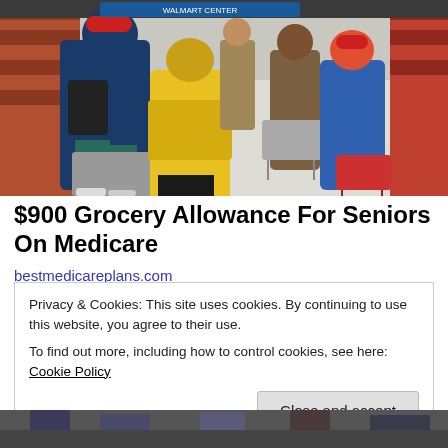[Figure (photo): Seniors shopping in a grocery store aisle, pushing carts. People wearing colorful winter coats including yellow and blue jackets.]
$900 Grocery Allowance For Seniors On Medicare
bestmedicareplans.com
Privacy & Cookies: This site uses cookies. By continuing to use this website, you agree to their use.
To find out more, including how to control cookies, see here: Cookie Policy
[Close and accept button]
[Figure (photo): Partial image of people at bottom of page, partially cut off.]